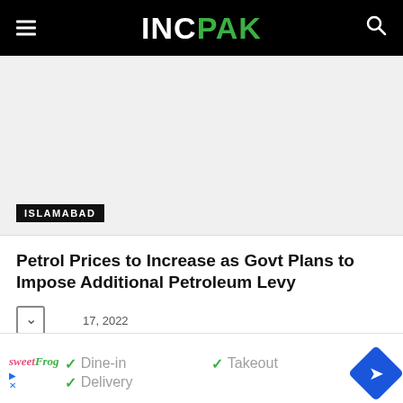INCPAK
[Figure (photo): Image placeholder with ISLAMABAD label at bottom left]
Petrol Prices to Increase as Govt Plans to Impose Additional Petroleum Levy
17, 2022
[Figure (infographic): Ad banner: sweetFrog logo with Dine-in, Takeout, Delivery checkmarks and a blue navigation diamond icon]